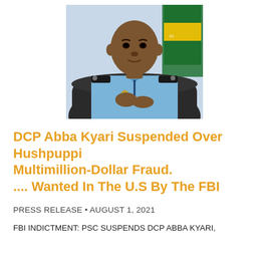[Figure (photo): Official police portrait photo of DCP Abba Kyari in light blue police uniform with dark epaulettes, seated in a leather chair, with a Nigerian flag visible in the background]
DCP Abba Kyari Suspended Over Hushpuppi Multimillion-Dollar Fraud.
.... Wanted In The U.S By The FBI
PRESS RELEASE • AUGUST 1, 2021
FBI INDICTMENT: PSC SUSPENDS DCP ABBA KYARI,